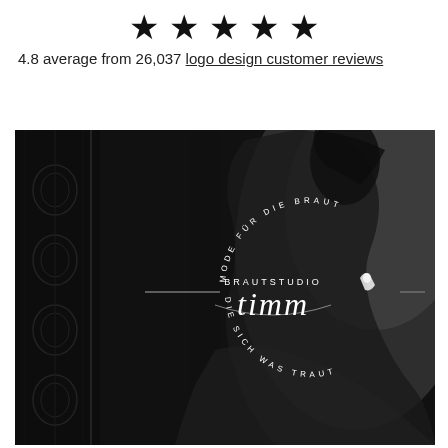[Figure (illustration): Five black filled star icons arranged in a horizontal row]
4.8 average from 26,037 logo design customer reviews
[Figure (photo): Black and white photo of a woman in a bridal gown seen from behind, with an elegant circular logo overlay reading 'MODE FÜR DIE BRAUT' and 'DIE SICH WAS TRAUT' around the text 'BRAUTSTUDIO timm']